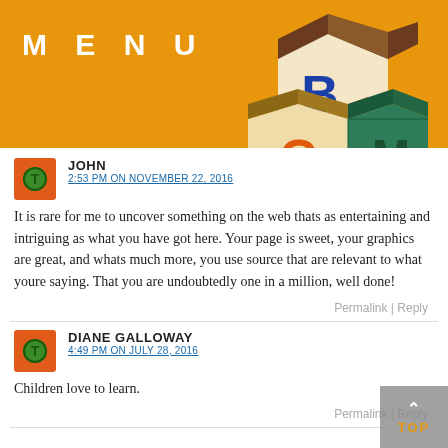MENU
[Figure (logo): BCM alphabet building blocks logo: three colored cubes stacked, with letters B (blue), C (orange), M (green) on their faces]
JOHN
2:53 PM ON NOVEMBER 22, 2016
It is rare for me to uncover something on the web thats as entertaining and intriguing as what you have got here. Your page is sweet, your graphics are great, and whats much more, you use source that are relevant to what youre saying. That you are undoubtedly one in a million, well done!
Permalink | Reply
DIANE GALLOWAY
4:49 PM ON JULY 28, 2016
Children love to learn.
Permalink | Reply